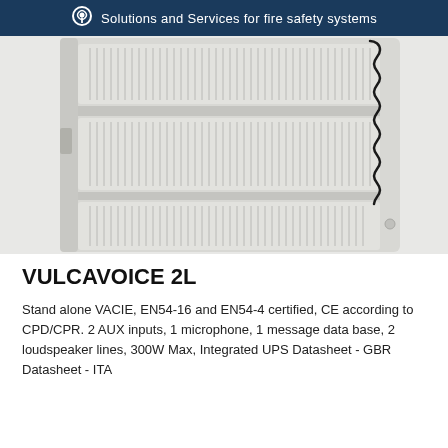Solutions and Services for fire safety systems
[Figure (photo): Close-up photo of a VULCAVOICE 2L fire safety voice alarm unit, showing a light grey metal enclosure with ventilation grille panels and a coiled black cable/handset hanging on the right side.]
VULCAVOICE 2L
Stand alone VACIE, EN54-16 and EN54-4 certified, CE according to CPD/CPR. 2 AUX inputs, 1 microphone, 1 message data base, 2 loudspeaker lines, 300W Max, Integrated UPS Datasheet - GBR Datasheet - ITA